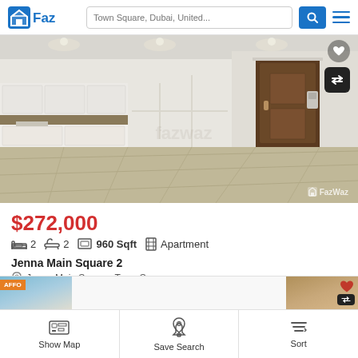FazWaz — Town Square, Dubai, United...
[Figure (photo): Interior photo of an empty modern apartment showing open-plan kitchen with white cabinets and light-colored tile floor. FazWaz watermark visible at bottom right.]
$272,000
2 bedrooms  2 bathrooms  960 Sqft  Apartment
Jenna Main Square 2
Jenna Main Square, Town Square
Show Map  Save Search  Sort